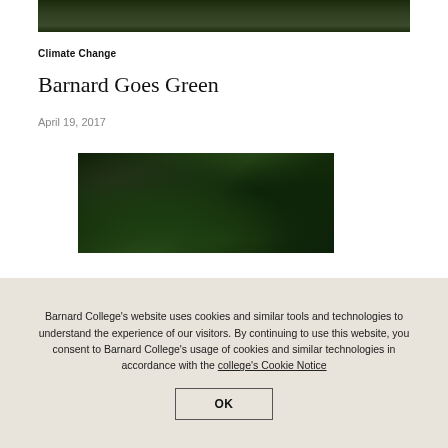[Figure (photo): Top portion of a photo showing dark green foliage and trees, partially cropped at the top of the page]
Climate Change
Barnard Goes Green
April 19, 2017
[Figure (photo): A photograph of dense green foliage, branches and leaves in dark green tones]
Barnard College's website uses cookies and similar tools and technologies to understand the experience of our visitors. By continuing to use this website, you consent to Barnard College's usage of cookies and similar technologies in accordance with the college's Cookie Notice